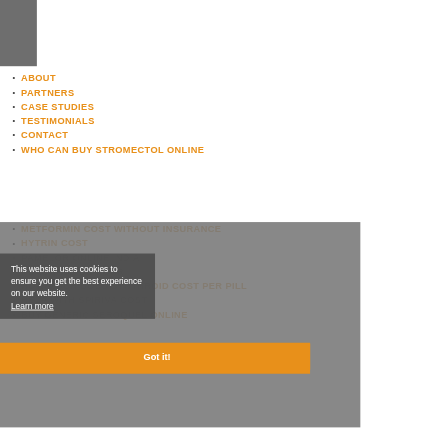[Figure (other): Grey square logo/header block in top-left corner]
ABOUT
PARTNERS
CASE STUDIES
TESTIMONIALS
CONTACT
WHO CAN BUY STROMECTOL ONLINE
METFORMIN COST WITHOUT INSURANCE
HYTRIN COST
PAMELOR ONLINE INDIA
PURCHASE BENICAR
HOW MUCH DOES SYNTHROID COST PER PILL
HELP WITH SPIRIVA COST
BUY GENERIC SEROQUEL ONLINE
This website uses cookies to ensure you get the best experience on our website.
Learn more
Got it!